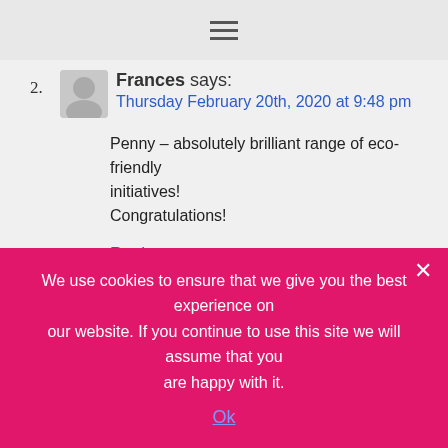☰ (hamburger menu icon)
2. Frances says: Thursday February 20th, 2020 at 9:48 pm — Penny – absolutely brilliant range of eco- friendly initiatives! Congratulations! Reply
Leave a Reply
Your email address will not be published. Required fields are marked *
Comment *
We use cookies to ensure that we give you the best experience on our website. If you continue to use this site we will assume that you are happy with it. Ok